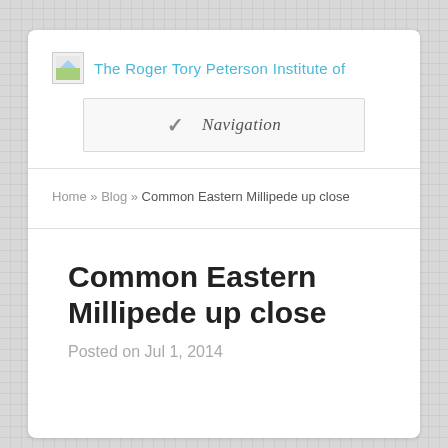The Roger Tory Peterson Institute of
Navigation
Home » Blog » Common Eastern Millipede up close
Common Eastern Millipede up close
Posted on Jul 1, 2014